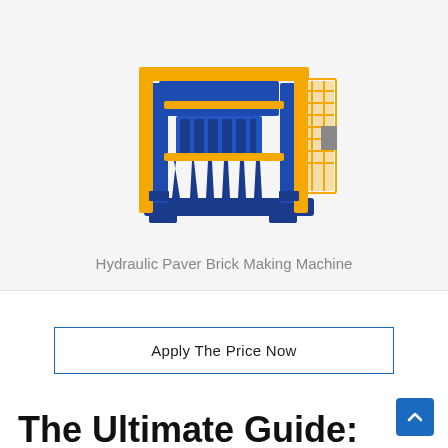[Figure (photo): A blue and yellow hydraulic paver brick making machine photographed against a white background. The machine is large industrial equipment with yellow frame accents and blue body, featuring hydraulic press mechanism and safety cage.]
Hydraulic Paver Brick Making Machine
Apply The Price Now
The Ultimate Guide: Block Making Machine